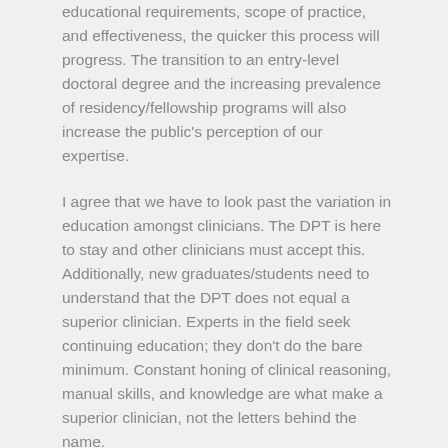educational requirements, scope of practice, and effectiveness, the quicker this process will progress. The transition to an entry-level doctoral degree and the increasing prevalence of residency/fellowship programs will also increase the public's perception of our expertise.
I agree that we have to look past the variation in education amongst clinicians. The DPT is here to stay and other clinicians must accept this. Additionally, new graduates/students need to understand that the DPT does not equal a superior clinician. Experts in the field seek continuing education; they don't do the bare minimum. Constant honing of clinical reasoning, manual skills, and knowledge are what make a superior clinician, not the letters behind the name.